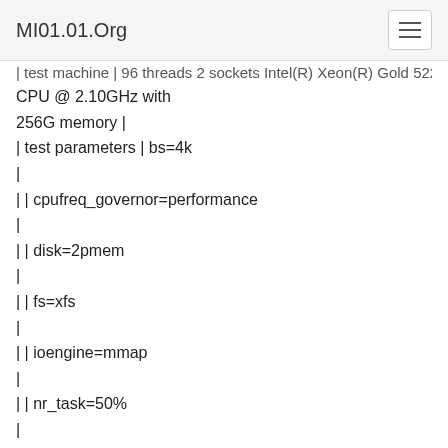MI01.01.Org
| test machine | 96 threads 2 sockets Intel(R) Xeon(R) Gold 5222 CPU @ 2.10GHz with 256G memory |
| test parameters | bs=4k
|
| | cpufreq_governor=performance
|
| | disk=2pmem
|
| | fs=xfs
|
| | ioengine=mmap
|
| | nr_task=50%
|
| | runtime=200s
|
| | rw=read
|
| | test_size=200G